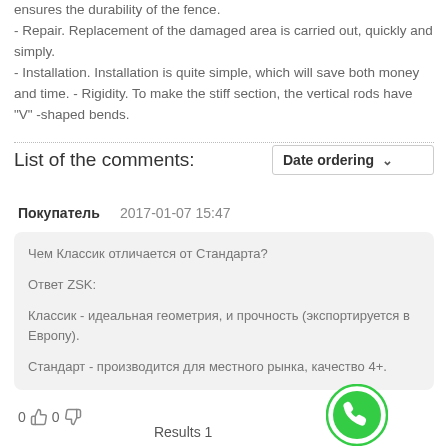ensures the durability of the fence. - Repair. Replacement of the damaged area is carried out, quickly and simply. - Installation. Installation is quite simple, which will save both money and time. - Rigidity. To make the stiff section, the vertical rods have "V" -shaped bends.
List of the comments:
Date ordering
Покупатель   2017-01-07 15:47
Чем Классик отличается от Стандарта?
Ответ ZSK:
Классик - идеальная геометрия, и прочность (экспортируется в Европу).
Стандарт - производится для местного рынка, качество 4+.
0 👍 0 👎
Results 1